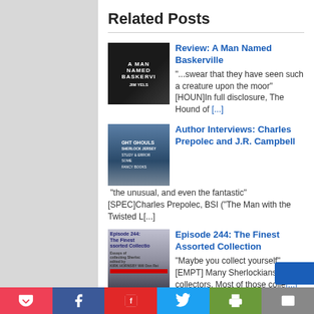Related Posts
Review: A Man Named Baskerville — "...swear that they have seen such a creature upon the moor" [HOUN]In full disclosure, The Hound of [...]
Author Interviews: Charles Prepolec and J.R. Campbell — "the unusual, and even the fantastic" [SPEC]Charles Prepolec, BSI ("The Man with the Twisted L[...]
Episode 244: The Finest Assorted Collection — "Maybe you collect yourself" [EMPT]  Many Sherlockians are collectors. Most of those colle[...]
Episode 243: On the Trail of Sherlock Holmes — "I may be on the trail in this matter" [BERY]. There are a number of